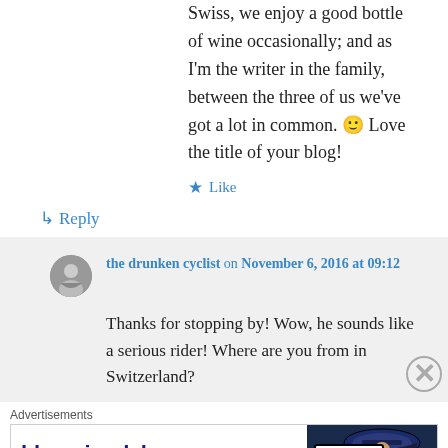Swiss, we enjoy a good bottle of wine occasionally; and as I'm the writer in the family, between the three of us we've got a lot in common. 🙂 Love the title of your blog!
★ Like
↳ Reply
the drunken cyclist on November 6, 2016 at 09:12
Thanks for stopping by! Wow, he sounds like a serious rider! Where are you from in Switzerland?
Advertisements
[Figure (other): Bloomingdale's advertisement banner: 'bloomingdales' logo, 'View Today's Top Deals!' text, image of woman with hat, 'SHOP NOW >' button]